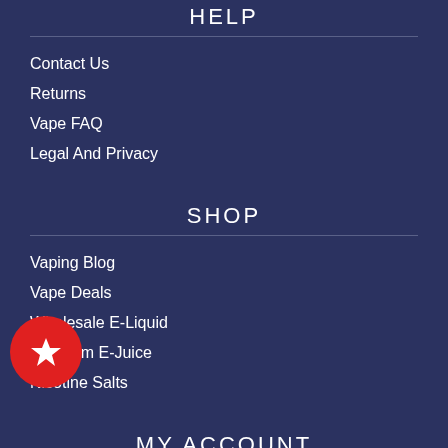HELP
Contact Us
Returns
Vape FAQ
Legal And Privacy
SHOP
Vaping Blog
Vape Deals
Wholesale E-Liquid
Premium E-Juice
Nicotine Salts
MY ACCOUNT
Sign In or Create An Account
View Cart
[Figure (illustration): Red circular badge with a white star icon]